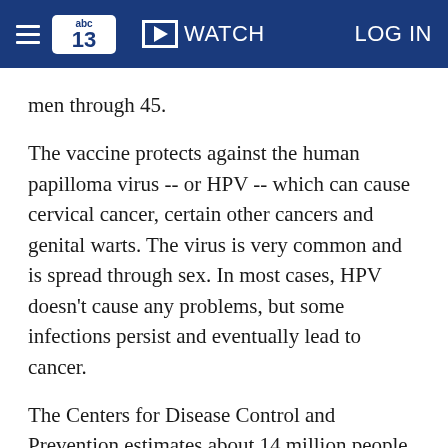abc13 WATCH LOG IN
men through 45.
The vaccine protects against the human papilloma virus -- or HPV -- which can cause cervical cancer, certain other cancers and genital warts. The virus is very common and is spread through sex. In most cases, HPV doesn't cause any problems, but some infections persist and eventually lead to cancer.
The Centers for Disease Control and Prevention estimates about 14 million people become newly infected with HPV each year, mostly teens and young adults.
Gardasil was originally approved for girls in 2006 and